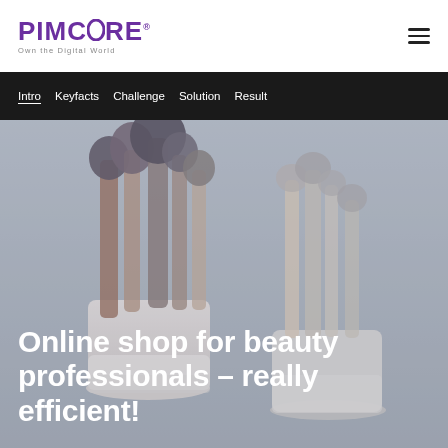PIMCORE Own the Digital World
Intro Keyfacts Challenge Solution Result
[Figure (photo): Hero image of makeup brushes in white decorative holders, muted blue-grey tones]
Online shop for beauty professionals – really efficient!